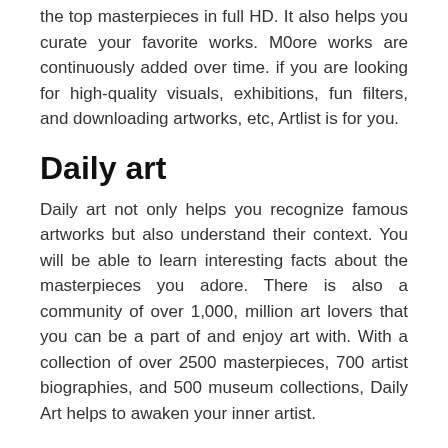the top masterpieces in full HD. It also helps you curate your favorite works. M0ore works are continuously added over time. if you are looking for high-quality visuals, exhibitions, fun filters, and downloading artworks, etc, Artlist is for you.
Daily art
Daily art not only helps you recognize famous artworks but also understand their context. You will be able to learn interesting facts about the masterpieces you adore. There is also a community of over 1,000, million art lovers that you can be a part of and enjoy art with. With a collection of over 2500 masterpieces, 700 artist biographies, and 500 museum collections, Daily Art helps to awaken your inner artist.
Paris Invaders Map